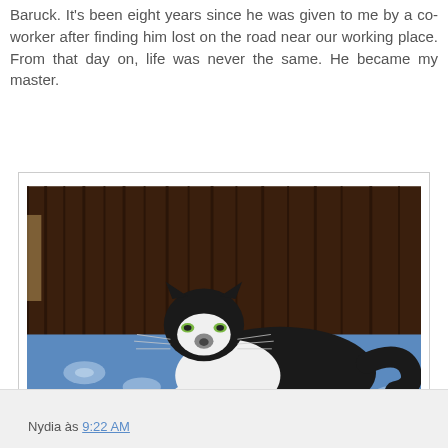Baruck. It's been eight years since he was given to me by a co-worker after finding him lost on the road near our working place. From that day on, life was never the same. He became my master.
[Figure (photo): A black and white tuxedo cat resting on a blue floral-patterned bedspread, with dark wood paneling in the background.]
Nydia às 9:22 AM